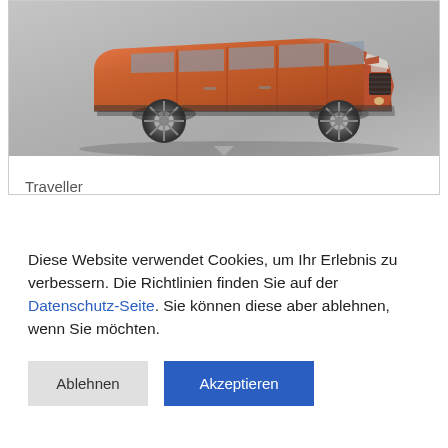[Figure (photo): Photo of a Peugeot Traveller minivan in copper/orange color on a grey studio background, shown from a front three-quarter angle.]
Traveller
Diese Website verwendet Cookies, um Ihr Erlebnis zu verbessern. Die Richtlinien finden Sie auf der Datenschutz-Seite. Sie können diese aber ablehnen, wenn Sie möchten.